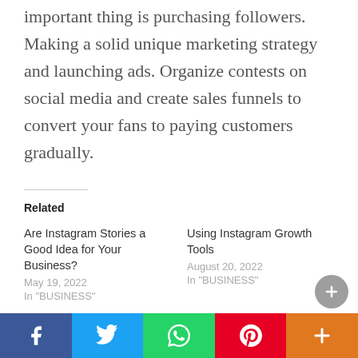important thing is purchasing followers. Making a solid unique marketing strategy and launching ads. Organize contests on social media and create sales funnels to convert your fans to paying customers gradually.
Related
Are Instagram Stories a Good Idea for Your Business?
May 19, 2022
In "BUSINESS"
Using Instagram Growth Tools
August 20, 2022
In "BUSINESS"
How to Get 1k followers on